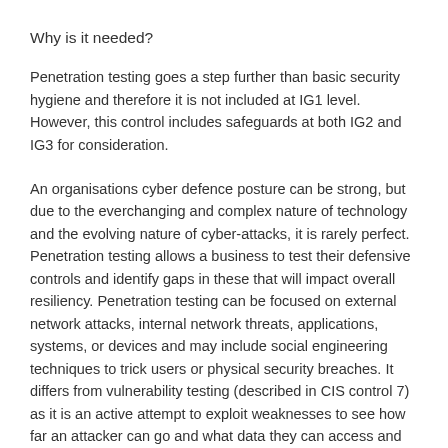Why is it needed?
Penetration testing goes a step further than basic security hygiene and therefore it is not included at IG1 level. However, this control includes safeguards at both IG2 and IG3 for consideration.
An organisations cyber defence posture can be strong, but due to the everchanging and complex nature of technology and the evolving nature of cyber-attacks, it is rarely perfect. Penetration testing allows a business to test their defensive controls and identify gaps in these that will impact overall resiliency. Penetration testing can be focused on external network attacks, internal network threats, applications, systems, or devices and may include social engineering techniques to trick users or physical security breaches. It differs from vulnerability testing (described in CIS control 7) as it is an active attempt to exploit weaknesses to see how far an attacker can go and what data they can access and